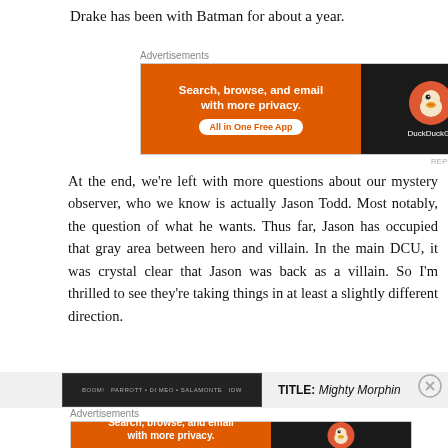Drake has been with Batman for about a year.
[Figure (screenshot): DuckDuckGo advertisement banner: orange left side with text 'Search, browse, and email with more privacy. All in One Free App' and dark right side with DuckDuckGo duck logo and brand name]
At the end, we're left with more questions about our mystery observer, who we know is actually Jason Todd. Most notably, the question of what he wants. Thus far, Jason has occupied that gray area between hero and villain. In the main DCU, it was crystal clear that Jason was back as a villain. So I'm thrilled to see they're taking things in at least a slightly different direction.
[Figure (screenshot): Bottom strip showing a comic book cover thumbnail with BOOM!, Parrott, Di Meo, Salamone, IDW credits, and partial text 'TITLE: Mighty Morphin' with a close button]
[Figure (screenshot): Second DuckDuckGo advertisement banner at bottom: same layout with orange left side and dark right side]